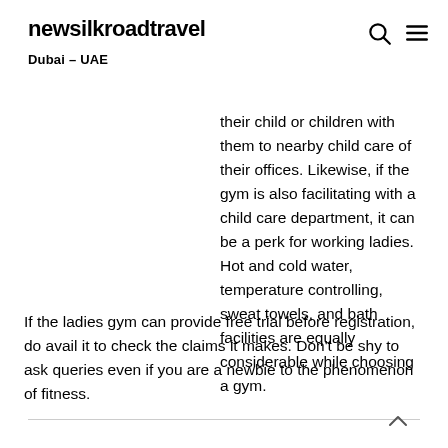newsilkroadtravel
Dubai – UAE
their child or children with them to nearby child care of their offices. Likewise, if the gym is also facilitating with a child care department, it can be a perk for working ladies. Hot and cold water, temperature controlling, sweat towels, and bath facilities are equally considerable while choosing a gym.
If the ladies gym can provide free trial before registration, do avail it to check the claims it makes. Don't be shy to ask queries even if you are a newbie to the phenomenon of fitness.